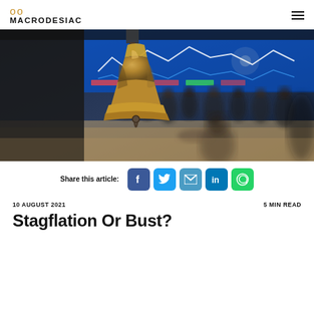MACRODESIAC
[Figure (photo): A bronze trading bell in the foreground with a blurred stock exchange trading floor scene in the background, showing traders in dark suits and electronic display boards with financial charts.]
Share this article:
10 AUGUST 2021   5 MIN READ
Stagflation Or Bust?